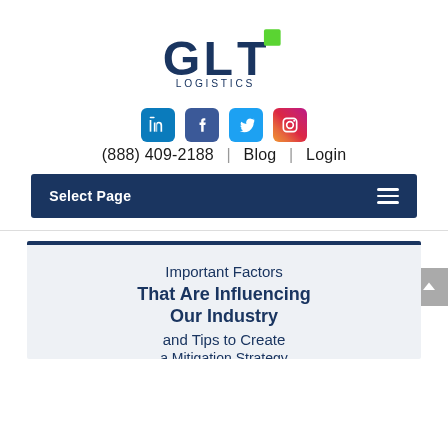[Figure (logo): GLT Logistics logo — dark navy 'GLT' letters with a green square accent on the T, and 'LOGISTICS' in spaced capitals below]
[Figure (infographic): Row of four social media icons: LinkedIn (blue rounded square), Facebook (dark blue rounded square), Twitter (light blue rounded square), Instagram (gradient rounded square)]
(888) 409-2188  |  Blog  |  Login
Select Page
Important Factors That Are Influencing Our Industry and Tips to Create a Mitigation Strategy